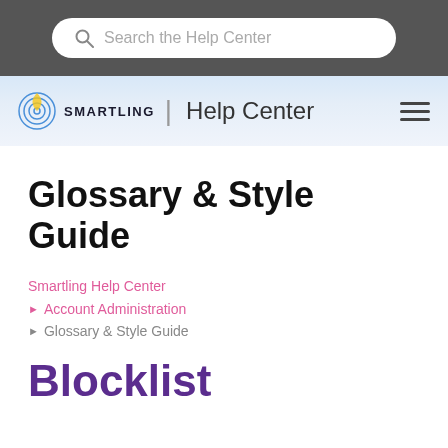Search the Help Center
[Figure (logo): Smartling logo with circular icon and text SMARTLING, followed by Help Center navigation header with hamburger menu]
Glossary & Style Guide
Smartling Help Center
Account Administration
Glossary & Style Guide
Blocklist